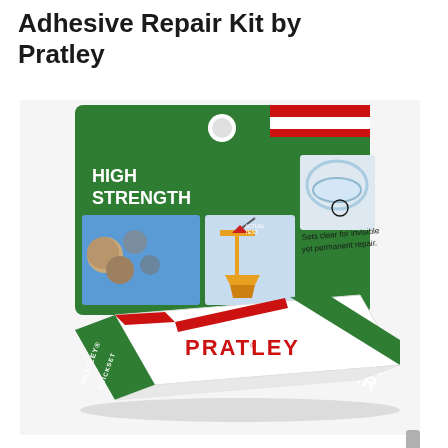Adhesive Repair Kit by Pratley
[Figure (photo): Product photo of Pratley Quickset Clear adhesive repair kit in green packaging. The card packaging shows HIGH STRENGTH text, images of a crane lifting heavy equipment and metal components being bonded. The front box shows PRATLEY in red letters and QUICKSET CLEAR in white on green background. Text reads 'Sets clear for invisible yet permanent repair.']